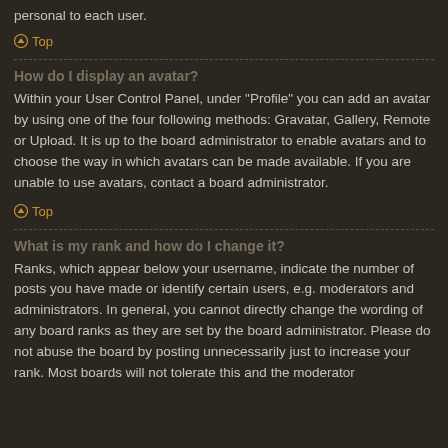personal to each user.
Top
How do I display an avatar?
Within your User Control Panel, under "Profile" you can add an avatar by using one of the four following methods: Gravatar, Gallery, Remote or Upload. It is up to the board administrator to enable avatars and to choose the way in which avatars can be made available. If you are unable to use avatars, contact a board administrator.
Top
What is my rank and how do I change it?
Ranks, which appear below your username, indicate the number of posts you have made or identify certain users, e.g. moderators and administrators. In general, you cannot directly change the wording of any board ranks as they are set by the board administrator. Please do not abuse the board by posting unnecessarily just to increase your rank. Most boards will not tolerate this and the moderator